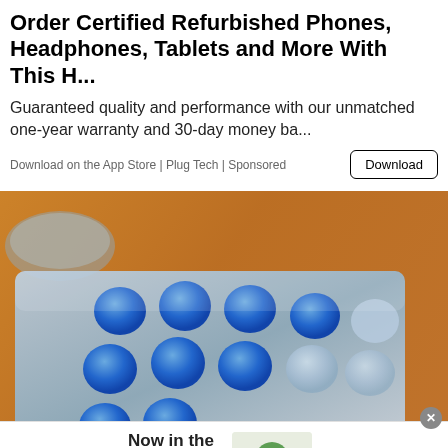Order Certified Refurbished Phones, Headphones, Tablets and More With This H...
Guaranteed quality and performance with our unmatched one-year warranty and 30-day money ba...
Download on the App Store | Plug Tech | Sponsored
[Figure (photo): Close-up photo of a blister pack of blue pills on a wooden surface]
[Figure (photo): 1-800-Flowers.com advertisement banner with plant image. Text: Now in the Plant Shop - Fresh picks for summer]